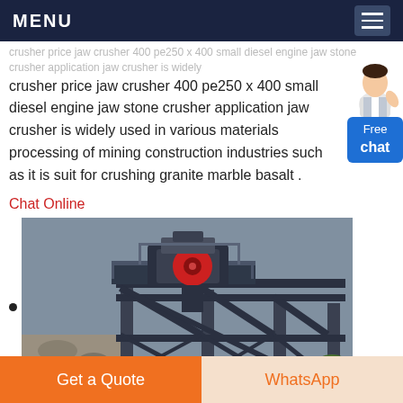MENU
crusher price jaw crusher 400 pe250 x 400 small diesel engine jaw stone crusher application jaw crusher is widely used in various materials processing of mining construction industries such as it is suit for crushing granite marble basalt .
Chat Online
[Figure (photo): Industrial jaw crusher machine mounted on a steel frame structure at an outdoor mining/construction site. Workers visible in background. Large conveyor/screen structure elevated on metal supports.]
Get a Quote | WhatsApp